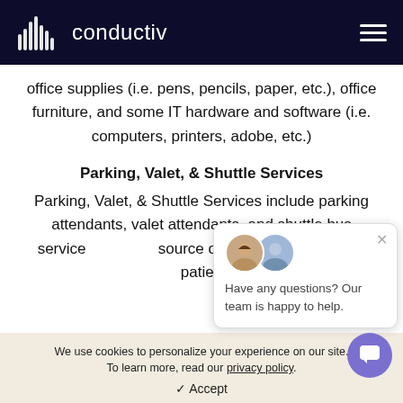conductiv
office supplies (i.e. pens, pencils, paper, etc.), office furniture, and some IT hardware and software (i.e. computers, printers, adobe, etc.)
Parking, Valet, & Shuttle Services
Parking, Valet, & Shuttle Services include parking attendants, valet attendants, and shuttle bus service source of revenue and cater to patien
[Figure (other): Chat popup with two avatars and message: Have any questions? Our team is happy to help.]
We use cookies to personalize your experience on our site. To learn more, read our privacy policy.
✓ Accept